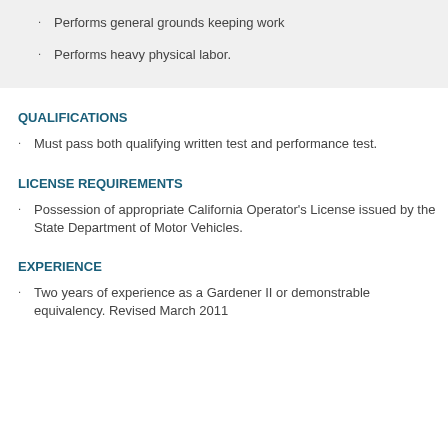Performs general grounds keeping work
Performs heavy physical labor.
QUALIFICATIONS
Must pass both qualifying written test and performance test.
LICENSE REQUIREMENTS
Possession of appropriate California Operator's License issued by the State Department of Motor Vehicles.
EXPERIENCE
Two years of experience as a Gardener II or demonstrable equivalency. Revised March 2011